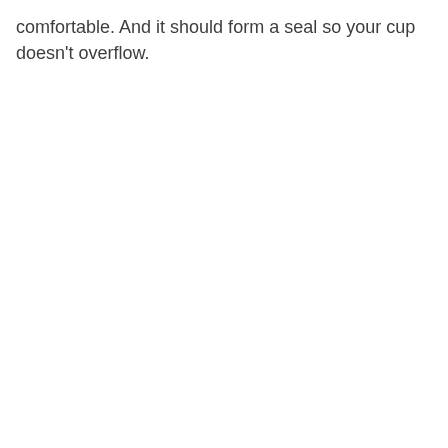comfortable. And it should form a seal so your cup doesn't overflow.